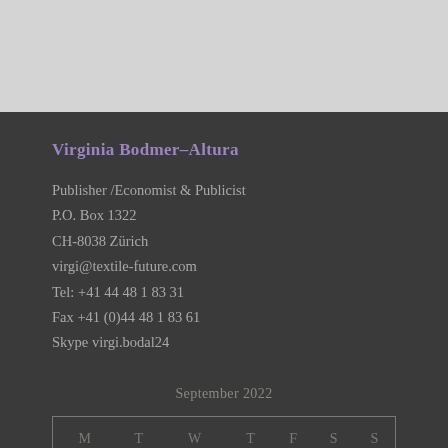Virginia Bodmer–Altura
Publisher /Economist & Publicist
P.O. Box 1322
CH-8038 Zürich
virgi@textile-future.com
Tel: +41 44 48 1 83 31
Fax +41 (0)44 48 1 83 61
Skype virgi.bodal24
September 2022
| M | T | W | T | F | S | S |
| --- | --- | --- | --- | --- | --- | --- |